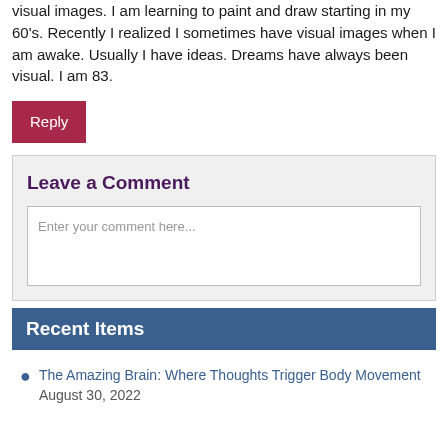visual images. I am learning to paint and draw starting in my 60's. Recently I realized I sometimes have visual images when I am awake. Usually I have ideas. Dreams have always been visual. I am 83.
Reply
Leave a Comment
Enter your comment here...
Recent Items
The Amazing Brain: Where Thoughts Trigger Body Movement August 30, 2022